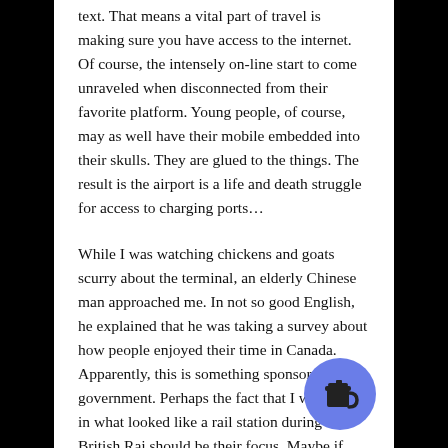text. That means a vital part of travel is making sure you have access to the internet. Of course, the intensely online start to come unraveled when disconnected from their favorite platform. Young people, of course, may as well have their mobile embedded into their skulls. They are glued to the things. The result is the airport is a life and death struggle for access to charging ports…
While I was watching chickens and goats scurry about the terminal, an elderly Chinese man approached me. In not so good English, he explained that he was taking a survey about how people enjoyed their time in Canada. Apparently, this is something sponsored by the government. Perhaps the fact that I was sitting in what looked like a rail station during the British Raj should be their focus. Maybe if Canadian cities were full of Canadians, there would be no need for such surveys…
On the plane, a big black women immediately broke op her picnic basket. This is something you notice when y travel. Black women love eating on planes. They bring massive amounts of food and spend the fight eating from